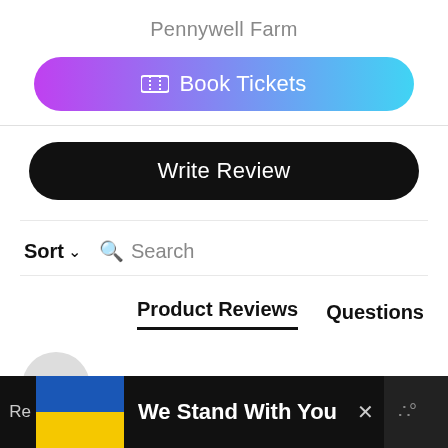Pennywell Farm
Book Tickets
Write Review
Sort  Search
Product Reviews  Questions
Rf
We Stand With You